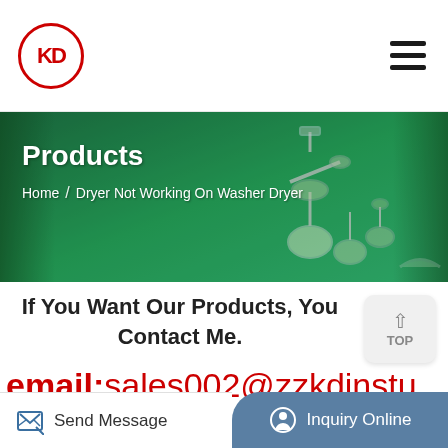KD logo and navigation menu
[Figure (screenshot): Hero banner with green background, lab equipment, and breadcrumb navigation showing Products / Home / Dryer Not Working On Washer Dryer]
Products
Home / Dryer Not Working On Washer Dryer
If You Want Our Products, You Contact Me.
email:sales002@zzkdinstu
[Figure (photo): Laboratory equipment products partially visible]
Popular
Send Message | Inquiry Online